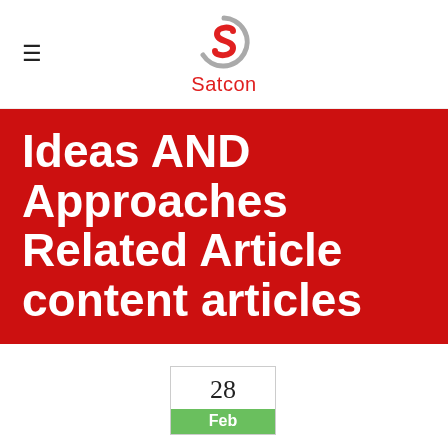≡  Satcon
Ideas AND Approaches Related Article content articles
28
Feb